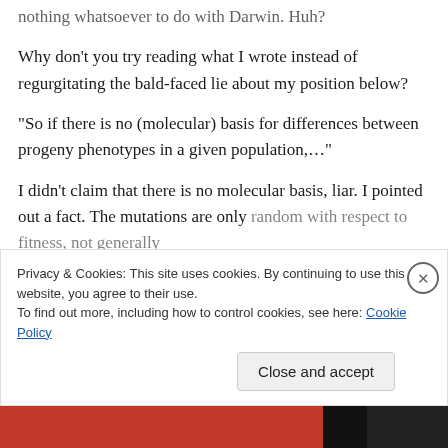nothing whatsoever to do with Darwin. Huh?
Why don't you try reading what I wrote instead of regurgitating the bald-faced lie about my position below?
“So if there is no (molecular) basis for differences between progeny phenotypes in a given population,…”
I didn't claim that there is no molecular basis, liar. I pointed out a fact. The mutations are only random with respect to fitness, not generally
Privacy & Cookies: This site uses cookies. By continuing to use this website, you agree to their use.
To find out more, including how to control cookies, see here: Cookie Policy